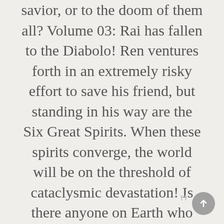savior, or to the doom of them all? Volume 03: Rai has fallen to the Diabolo! Ren ventures forth in an extremely risky effort to save his friend, but standing in his way are the Six Great Spirits. When these spirits converge, the world will be on the threshold of cataclysmic devastation! Is there anyone on Earth who can survive this ultimate struggle between good and evil?